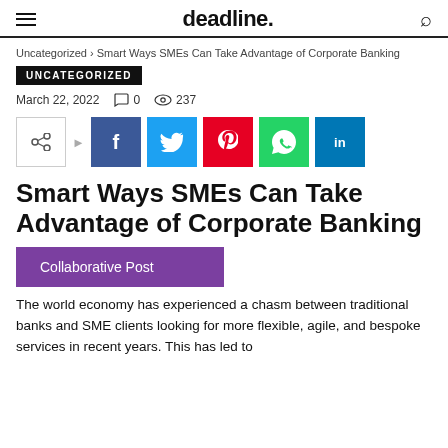deadline.
Uncategorized › Smart Ways SMEs Can Take Advantage of Corporate Banking
UNCATEGORIZED
March 22, 2022   0   237
[Figure (other): Social share buttons: share icon box with arrow, Facebook, Twitter, Pinterest, WhatsApp, LinkedIn]
Smart Ways SMEs Can Take Advantage of Corporate Banking
Collaborative Post
The world economy has experienced a chasm between traditional banks and SME clients looking for more flexible, agile, and bespoke services in recent years. This has led to